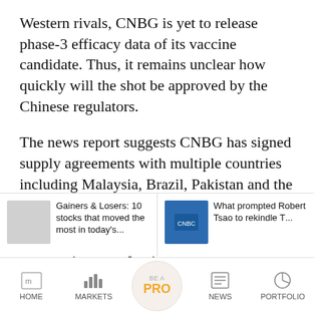Western rivals, CNBG is yet to release phase-3 efficacy data of its vaccine candidate. Thus, it remains unclear how quickly will the shot be approved by the Chinese regulators.
The news report suggests CNBG has signed supply agreements with multiple countries including Malaysia, Brazil, Pakistan and the United Arab Emirates (UAE).
Moneycontrol’s full coverage of the coronavirus pandemic
More than 5.9 crore people have been infected
[Figure (screenshot): Related articles bar showing two items: 'Gainers & Losers: 10 stocks that moved the...' with a grey thumbnail, and 'What prompted Robert Tsao to rekindle T...' with a blue thumbnail]
[Figure (screenshot): Bottom navigation bar with HOME, MARKETS, BE A PRO (circular button), NEWS, PORTFOLIO icons]